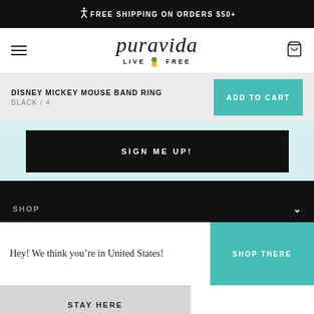FREE SHIPPING ON ORDERS $50+
[Figure (logo): Pura Vida logo with text 'pura vida LIVE FREE' and pineapple icon]
DISNEY MICKEY MOUSE BAND RING
BLACK / 4
ADD TO CART
SIGN ME UP!
SHOP
BRAND
HELP
Hey! We think you’re in United States!
SHOP THERE
STAY HERE